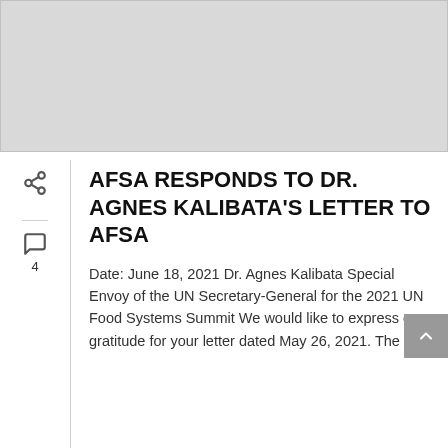[Figure (photo): Gray placeholder image area at top of page]
AFSA RESPONDS TO DR. AGNES KALIBATA'S LETTER TO AFSA
Date: June 18, 2021 Dr. Agnes Kalibata Special Envoy of the UN Secretary-General for the 2021 UN Food Systems Summit We would like to express our gratitude for your letter dated May 26, 2021. The […]